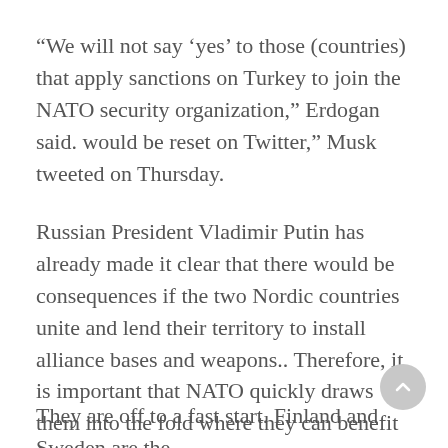“We will not say ‘yes’ to those (countries) that apply sanctions on Turkey to join the NATO security organization,” Erdogan said. would be reset on Twitter,” Musk tweeted on Thursday.
Russian President Vladimir Putin has already made it clear that there would be consequences if the two Nordic countries unite and lend their territory to install alliance bases and weapons.. Therefore, it is important that NATO quickly draws them into the fold where they can benefit from the security guarantees that membership provides.
They are off to a fast start. Finland and Sweden are the